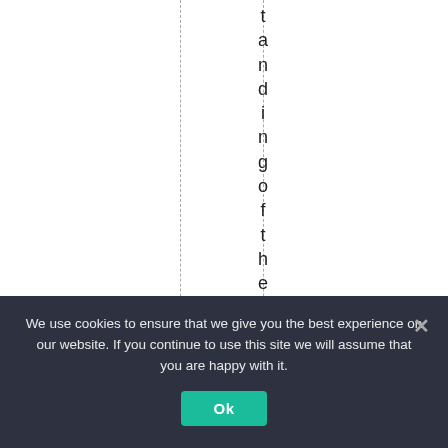tandingoftheproblem
We use cookies to ensure that we give you the best experience on our website. If you continue to use this site we will assume that you are happy with it.